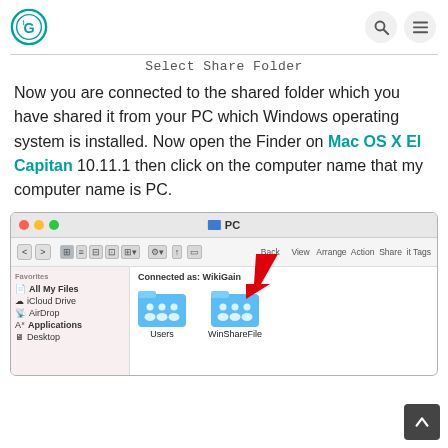WikiGain logo, Search, Menu icons
Select Share Folder
Now you are connected to the shared folder which you have shared it from your PC which Windows operating system is installed. Now open the Finder on Mac OS X El Capitan 10.11.1 then click on the computer name that my computer name is PC.
[Figure (screenshot): Mac OS X Finder window showing PC network share with Users and WinShareFile folders. A red arrow points to the WinShareFile folder. Connected as: WikiGain is shown.]